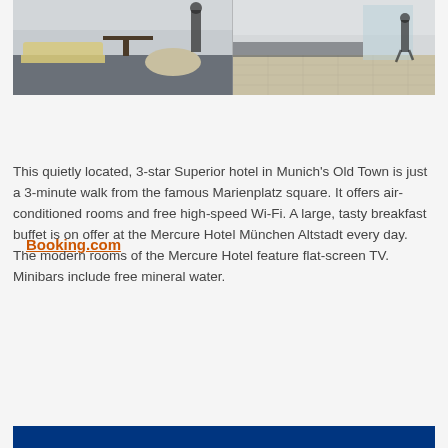[Figure (photo): Hotel lobby/reception area showing seating area on left and tiled floor entrance on right with a person walking]
Booking.com
This quietly located, 3-star Superior hotel in Munich's Old Town is just a 3-minute walk from the famous Marienplatz square. It offers air-conditioned rooms and free high-speed Wi-Fi. A large, tasty breakfast buffet is on offer at the Mercure Hotel München Altstadt every day. The modern rooms of the Mercure Hotel feature flat-screen TV. Minibars include free mineral water.